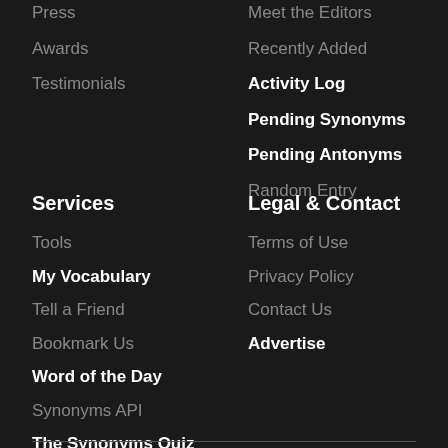Press
Meet the Editors
Awards
Recently Added
Testimonials
Activity Log
Pending Synonyms
Pending Antonyms
Random Entry
Services
Legal & Contact
Tools
Terms of Use
My Vocabulary
Privacy Policy
Tell a Friend
Contact Us
Bookmark Us
Advertise
Word of the Day
Synonyms API
The Synonyms Quiz